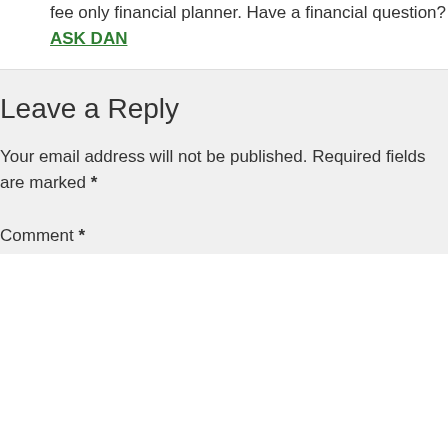fee only financial planner. Have a financial question? ASK DAN
Leave a Reply
Your email address will not be published. Required fields are marked *
Comment *